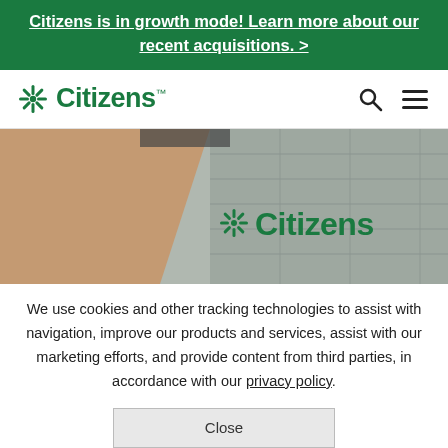Citizens is in growth mode! Learn more about our recent acquisitions. >
[Figure (logo): Citizens Bank logo with snowflake icon in green and the word Citizens in green bold font with trademark symbol]
[Figure (photo): Exterior of Citizens Bank building with terracotta facade panels and glass/metal upper section, with green Citizens logo sign on the building]
We use cookies and other tracking technologies to assist with navigation, improve our products and services, assist with our marketing efforts, and provide content from third parties, in accordance with our privacy policy.
Close